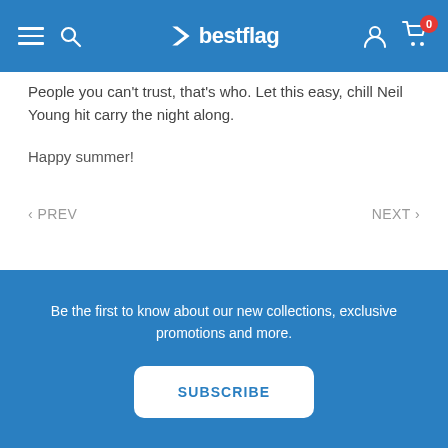bestflag
People you can't trust, that's who. Let this easy, chill Neil Young hit carry the night along.
Happy summer!
< PREV   NEXT >
Be the first to know about our new collections, exclusive promotions and more.
SUBSCRIBE